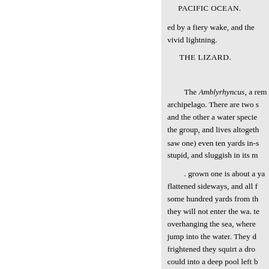PACIFIC OCEAN.
ed by a fiery wake, and the vivid lightning.
THE LIZARD.
The Amblyrhyncus, a rem archipelago. There are two s and the other a water specie the group, and lives altoget saw one) even ten yards in-s stupid, and sluggish in its m
. grown one is about a ya flattened sideways, and all f some hundred yards from th they will not enter the wa. te overhanging the sea, where jump into the water. They d frightened they squirt a dro could into a deep pool left b